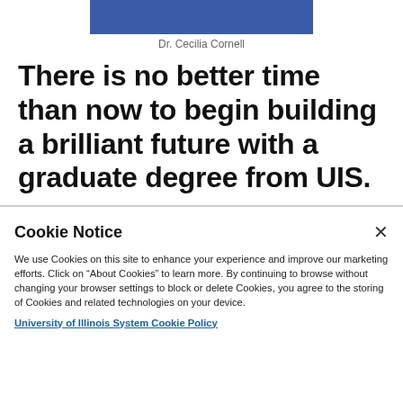[Figure (photo): Partial photo of Dr. Cecilia Cornell in blue attire, cropped at top of page]
Dr. Cecilia Cornell
There is no better time than now to begin building a brilliant future with a graduate degree from UIS.
Cookie Notice
We use Cookies on this site to enhance your experience and improve our marketing efforts. Click on “About Cookies” to learn more. By continuing to browse without changing your browser settings to block or delete Cookies, you agree to the storing of Cookies and related technologies on your device.
University of Illinois System Cookie Policy